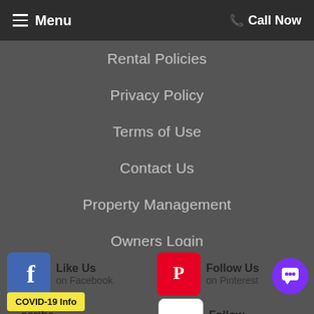Menu | Call Now
Rental Policies
Privacy Policy
Terms of Use
Contact Us
Property Management
Owners Login
Guest Login
Like Us on Facebook
Follow Us on Pinterest
Subscribe on YouTube
Follow on MeWe
COVID-19 Info